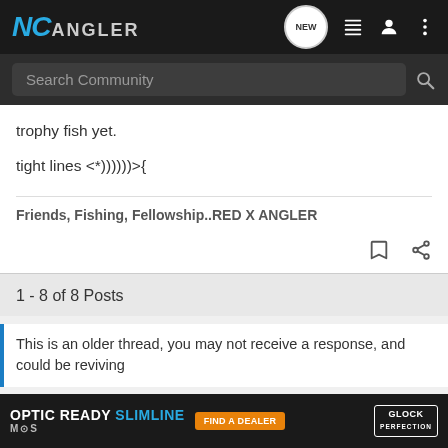NC ANGLER
trophy fish yet.
tight lines <*))))))>{
Friends, Fishing, Fellowship..RED X ANGLER
1 - 8 of 8 Posts
This is an older thread, you may not receive a response, and could be reviving...